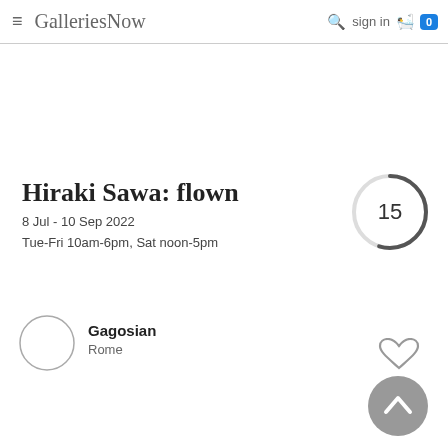GalleriesNow  sign in  0
Hiraki Sawa: flown
8 Jul - 10 Sep 2022
Tue-Fri 10am-6pm, Sat noon-5pm
[Figure (other): Circular progress/days indicator showing the number 15, with a partial dark arc on a light grey circle]
[Figure (logo): Gagosian gallery logo circle (empty white circle with grey border)]
Gagosian
Rome
[Figure (other): Heart/favourite icon outline in grey]
[Figure (other): Scroll to top button: grey circle with upward chevron]